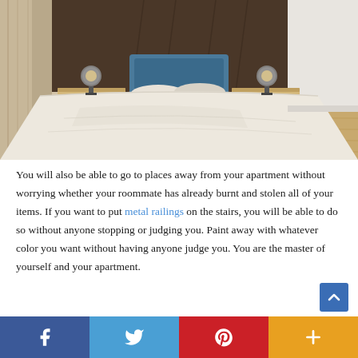[Figure (photo): A bedroom with a bed with white bedding and a blue headboard, two nightstands with globe lamps, light wood flooring, and a dark floral wallpapered accent wall. Natural light from left curtain.]
You will also be able to go to places away from your apartment without worrying whether your roommate has already burnt and stolen all of your items. If you want to put metal railings on the stairs, you will be able to do so without anyone stopping or judging you. Paint away with whatever color you want without having anyone judge you. You are the master of yourself and your apartment.